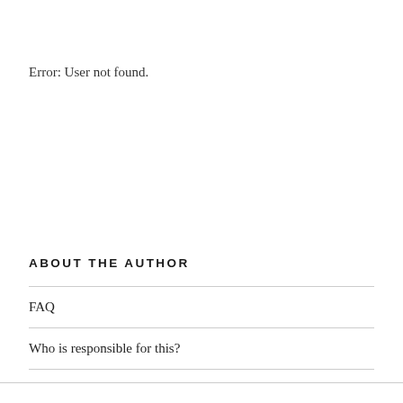Error: User not found.
ABOUT THE AUTHOR
FAQ
Who is responsible for this?